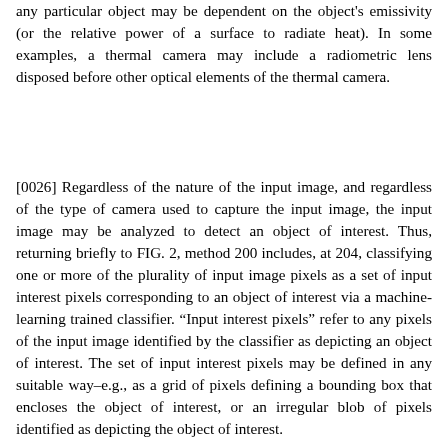any particular object may be dependent on the object's emissivity (or the relative power of a surface to radiate heat). In some examples, a thermal camera may include a radiometric lens disposed before other optical elements of the thermal camera.
[0026] Regardless of the nature of the input image, and regardless of the type of camera used to capture the input image, the input image may be analyzed to detect an object of interest. Thus, returning briefly to FIG. 2, method 200 includes, at 204, classifying one or more of the plurality of input image pixels as a set of input interest pixels corresponding to an object of interest via a machine-learning trained classifier. “Input interest pixels” refer to any pixels of the input image identified by the classifier as depicting an object of interest. The set of input interest pixels may be defined in any suitable way–e.g., as a grid of pixels defining a bounding box that encloses the object of interest, or an irregular blob of pixels identified as depicting the object of interest.